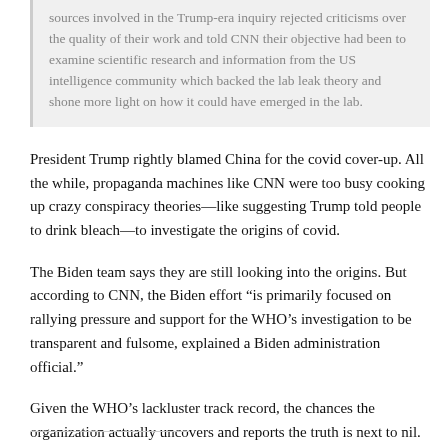sources involved in the Trump-era inquiry rejected criticisms over the quality of their work and told CNN their objective had been to examine scientific research and information from the US intelligence community which backed the lab leak theory and shone more light on how it could have emerged in the lab.
President Trump rightly blamed China for the covid cover-up. All the while, propaganda machines like CNN were too busy cooking up crazy conspiracy theories—like suggesting Trump told people to drink bleach—to investigate the origins of covid.
The Biden team says they are still looking into the origins. But according to CNN, the Biden effort “is primarily focused on rallying pressure and support for the WHO’s investigation to be transparent and fulsome, explained a Biden administration official.”
Given the WHO’s lackluster track record, the chances the organization actually uncovers and reports the truth is next to nil.